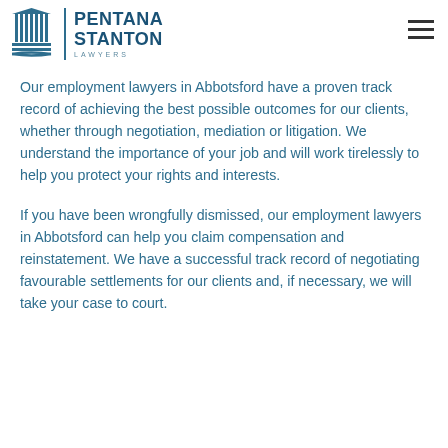PENTANA STANTON LAWYERS
Our employment lawyers in Abbotsford have a proven track record of achieving the best possible outcomes for our clients, whether through negotiation, mediation or litigation. We understand the importance of your job and will work tirelessly to help you protect your rights and interests.
If you have been wrongfully dismissed, our employment lawyers in Abbotsford can help you claim compensation and reinstatement. We have a successful track record of negotiating favourable settlements for our clients and, if necessary, we will take your case to court.